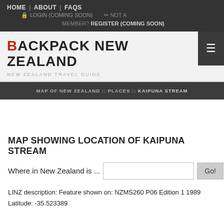HOME | ABOUT | FAQS | LOGIN (COMING SOON) | NOT A MEMBER? REGISTER (COMING SOON)
BACKPACK NEW ZEALAND
NEW ZEALAND TRAVEL GUIDE
MAP OF NEW ZEALAND :: PLACES :: KAIPUNA STREAM
MAP SHOWING LOCATION OF KAIPUNA STREAM
Where in New Zealand is ...
LINZ description: Feature shown on: NZMS260 P06 Edition 1 1989
Latitude: -35.523389